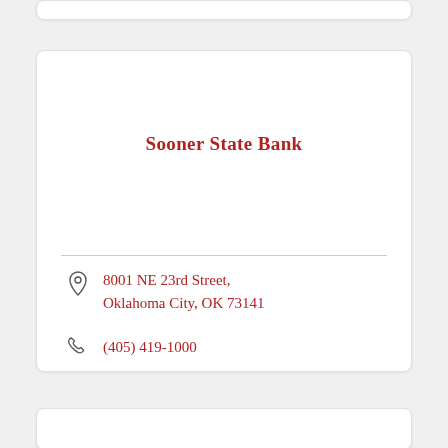Sooner State Bank
8001 NE 23rd Street, Oklahoma City, OK 73141
(405) 419-1000